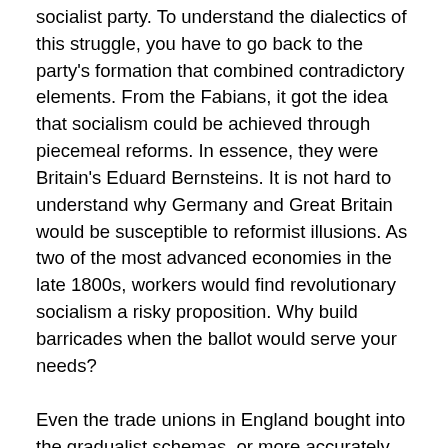socialist party. To understand the dialectics of this struggle, you have to go back to the party's formation that combined contradictory elements. From the Fabians, it got the idea that socialism could be achieved through piecemeal reforms. In essence, they were Britain's Eduard Bernsteins. It is not hard to understand why Germany and Great Britain would be susceptible to reformist illusions. As two of the most advanced economies in the late 1800s, workers would find revolutionary socialism a risky proposition. Why build barricades when the ballot would serve your needs?
Even the trade unions in England bought into the gradualist schemas, or more accurately the trade union officialdom. As counterparts of Samuel Gompers, they saw their role as mediating between the boss and their dues-